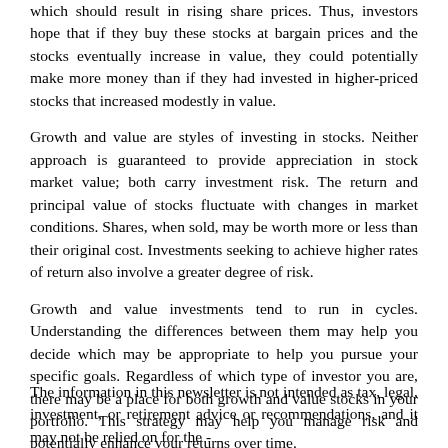which should result in rising share prices. Thus, investors hope that if they buy these stocks at bargain prices and the stocks eventually increase in value, they could potentially make more money than if they had invested in higher-priced stocks that increased modestly in value.
Growth and value are styles of investing in stocks. Neither approach is guaranteed to provide appreciation in stock market value; both carry investment risk. The return and principal value of stocks fluctuate with changes in market conditions. Shares, when sold, may be worth more or less than their original cost. Investments seeking to achieve higher rates of return also involve a greater degree of risk.
Growth and value investments tend to run in cycles. Understanding the differences between them may help you decide which may be appropriate to help you pursue your specific goals. Regardless of which type of investor you are, there may be a place for both growth and value stocks in your portfolio. This strategy may help you manage risk and potentially enhance your returns over time.
Note: The amount of a company's dividend can fluctuate with earnings, which are influenced by economic, market, and political events. Dividends are typically not guaranteed and could be changed or eliminated.
The information in this newsletter is not intended as tax, legal, investment, or retirement advice or recommendations, and it may not be relied on for the -